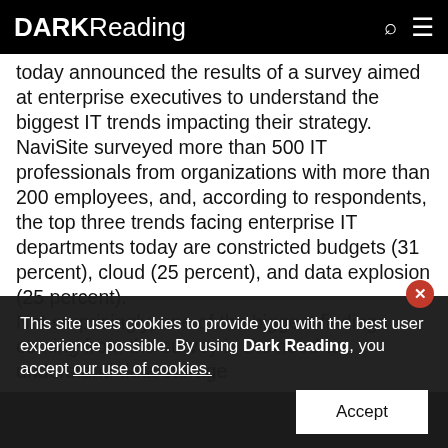DARK Reading
today announced the results of a survey aimed at enterprise executives to understand the biggest IT trends impacting their strategy. NaviSite surveyed more than 500 IT professionals from organizations with more than 200 employees, and, according to respondents, the top three trends facing enterprise IT departments today are constricted budgets (31 percent), cloud (25 percent), and data explosion (25 percent). Not surprisingly, one of the biggest findings coming from the survey is the need to understand data storage
This site uses cookies to provide you with the best user experience possible. By using Dark Reading, you accept our use of cookies.